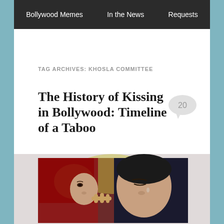Bollywood Memes   In the News   Requests
TAG ARCHIVES: KHOSLA COMMITTEE
The History of Kissing in Bollywood: Timeline of a Taboo
Posted on January 4, 2015
[Figure (photo): Close-up photo of a man and woman about to kiss, woman wearing red dupatta]